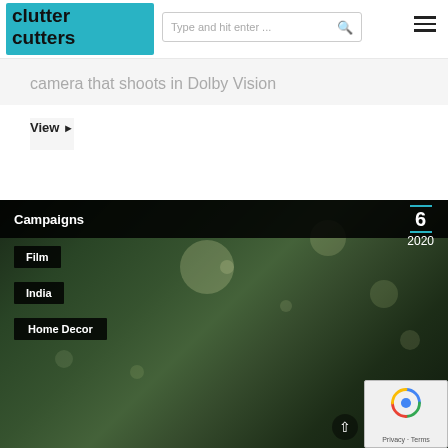clutter cutters
camera that shoots in Dolby Vision
View ▶
[Figure (photo): A young girl looking up, with bokeh background lights, dark silhouette behind her. Campaign listing card showing Film, India, Home Decor tags and date Nov 6 2020.]
Campaigns | Film | India | Home Decor — Nov 6 2020